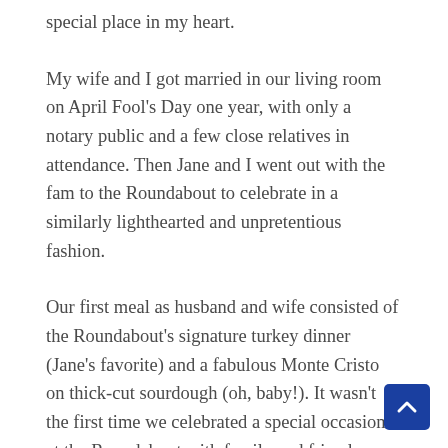special place in my heart.
My wife and I got married in our living room on April Fool's Day one year, with only a notary public and a few close relatives in attendance. Then Jane and I went out with the fam to the Roundabout to celebrate in a similarly lighthearted and unpretentious fashion.
Our first meal as husband and wife consisted of the Roundabout's signature turkey dinner (Jane's favorite) and a fabulous Monte Cristo on thick-cut sourdough (oh, baby!). It wasn't the first time we celebrated a special occasion at the Roundabout with family and friends, nor would it be the last. Every time a relative comes into town, the Roundabout is a likely destination